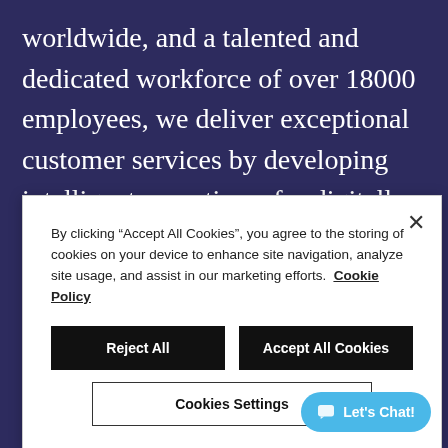worldwide, and a talented and dedicated workforce of over 18000 employees, we deliver exceptional customer services by developing intelligent operations, for digitally powered business process management and data solutions to enable business agility, increased productivity, and leading returns for
By clicking “Accept All Cookies”, you agree to the storing of cookies on your device to enhance site navigation, analyze site usage, and assist in our marketing efforts.  Cookie Policy
Reject All | Accept All Cookies | Cookies Settings